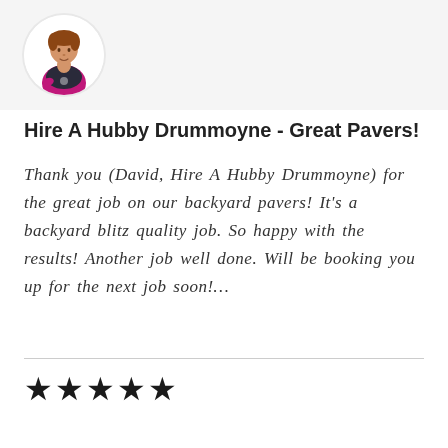[Figure (illustration): Circular avatar showing a person wearing a dark and pink/magenta uniform or jersey, illustrated style]
Hire A Hubby Drummoyne - Great Pavers!
Thank you (David, Hire A Hubby Drummoyne) for the great job on our backyard pavers! It's a backyard blitz quality job. So happy with the results! Another job well done. Will be booking you up for the next job soon!…
★★★★★